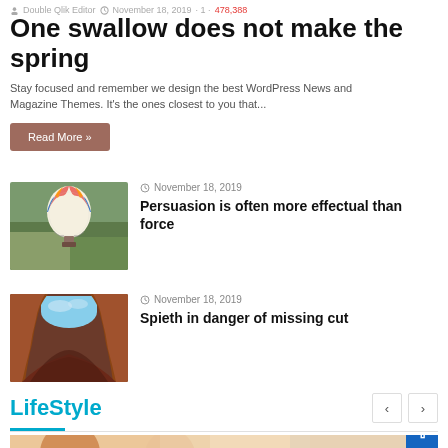Double Qlik Editor · November 18, 2019 · 1 · 478,388
One swallow does not make the spring
Stay focused and remember we design the best WordPress News and Magazine Themes. It's the ones closest to you that...
Read More »
[Figure (photo): Aerial view of a colorful hot air balloon over a landscape]
November 18, 2019
Persuasion is often more effectual than force
[Figure (photo): Close-up of colorful sandstone rock formations with blue sky opening]
November 18, 2019
Spieth in danger of missing cut
LifeStyle
[Figure (photo): Blurred warm-toned lifestyle photo, partial view at bottom of page]